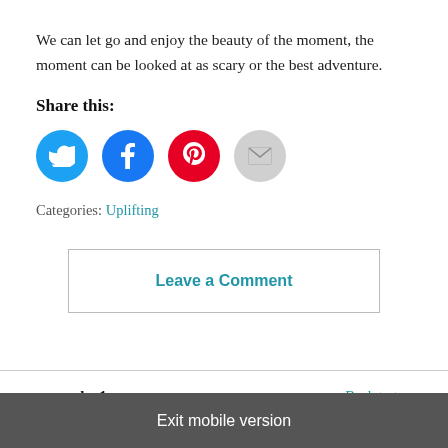We can let go and enjoy the beauty of the moment, the moment can be looked at as scary or the best adventure.
Share this:
[Figure (other): Social sharing buttons: Twitter (blue circle), Facebook (blue circle), Pinterest (red circle), Email (grey circle)]
Categories: Uplifting
Leave a Comment
gwynsday1
Back to top
Exit mobile version